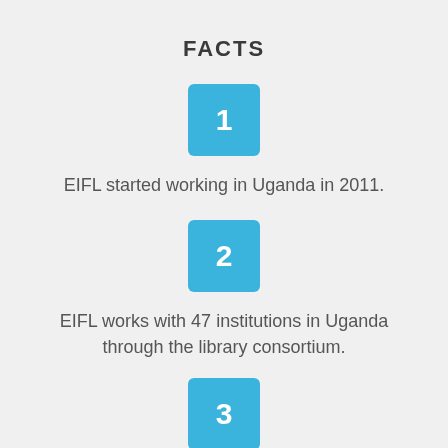FACTS
1 — EIFL started working in Uganda in 2011.
2 — EIFL works with 47 institutions in Uganda through the library consortium.
3